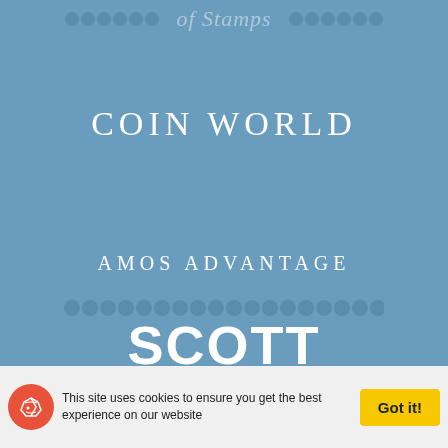of Stamps
COIN WORLD
AMOS ADVANTAGE
[Figure (logo): SCOTT logo text in large white bold letters with decorative perforated stamp-edge border effect]
This site uses cookies to ensure you get the best experience on our website